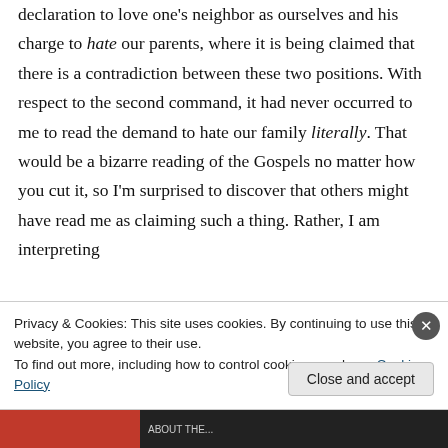declaration to love one's neighbor as ourselves and his charge to hate our parents, where it is being claimed that there is a contradiction between these two positions. With respect to the second command, it had never occurred to me to read the demand to hate our family literally. That would be a bizarre reading of the Gospels no matter how you cut it, so I'm surprised to discover that others might have read me as claiming such a thing. Rather, I am interpreting
Privacy & Cookies: This site uses cookies. By continuing to use this website, you agree to their use.
To find out more, including how to control cookies, see here: Cookie Policy
Close and accept